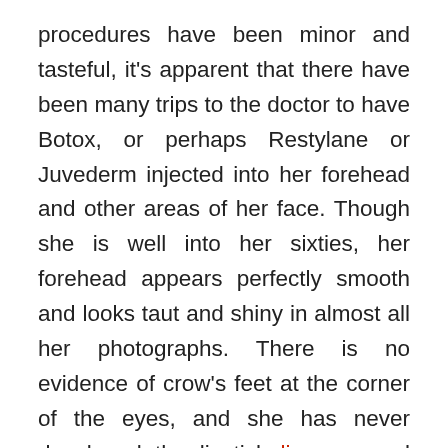procedures have been minor and tasteful, it's apparent that there have been many trips to the doctor to have Botox, or perhaps Restylane or Juvederm injected into her forehead and other areas of her face. Though she is well into her sixties, her forehead appears perfectly smooth and looks taut and shiny in almost all her photographs. There is no evidence of crow's feet at the corner of the eyes, and she has never developed the lipstick lines around her mouth you would expect for a woman of her age.
While the plastic surgery speculation mostly